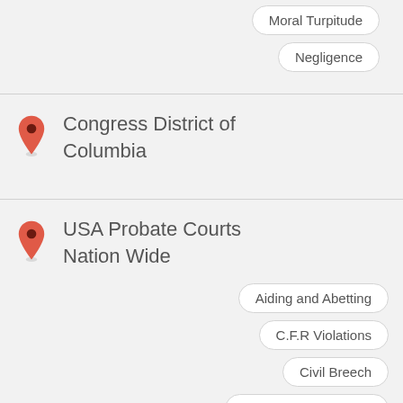[Figure (infographic): Tag pills for Moral Turpitude and Negligence on light gray background]
Congress District of Columbia
USA Probate Courts Nation Wide
Aiding and Abetting
C.F.R Violations
Civil Breech
Civil Rights Violations
Collusion